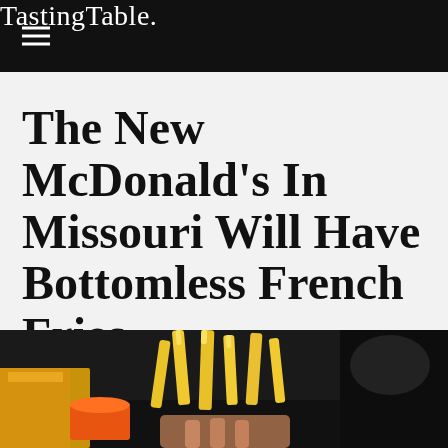Tasting Table.
The New McDonald's In Missouri Will Have Bottomless French Fries
A new McDonald's will have bottomless french fries
[Figure (photo): Close-up photo of McDonald's french fries being held up, with a yellow McDonald's bag visible in the dark background]